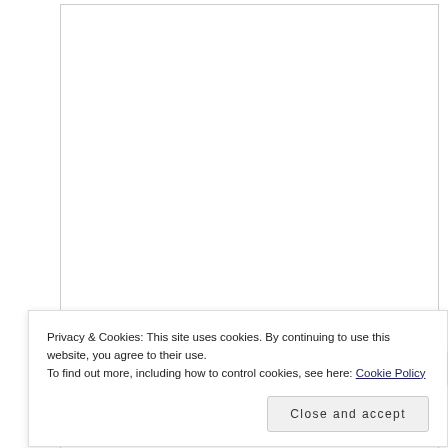COMMENT *
NAME *
Privacy & Cookies: This site uses cookies. By continuing to use this website, you agree to their use.
To find out more, including how to control cookies, see here: Cookie Policy
Close and accept